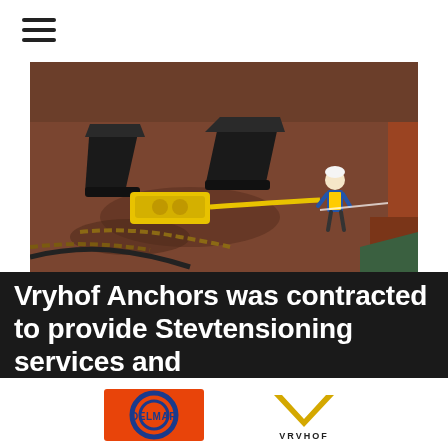[Figure (other): Hamburger menu icon with three horizontal bars]
[Figure (photo): Aerial view of a ship deck with large anchors, yellow equipment, chains, and a worker in safety vest and hard hat walking on the wet steel deck]
Vryhof Anchors was contracted to provide Stevtensioning services and
[Figure (logo): DELMAR logo — orange rectangle background with blue circular ring and DELMAR text in blue]
[Figure (logo): VRVHOF logo — gold/yellow chevron V shape above VRVHOF text in dark color]